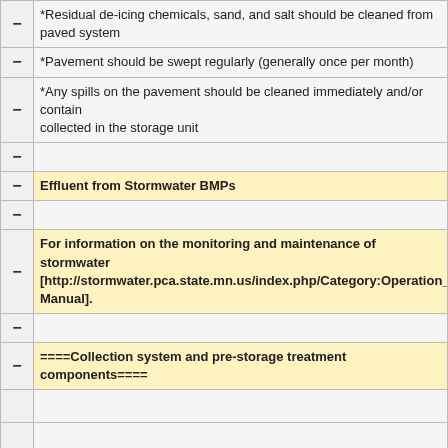*Residual de-icing chemicals, sand, and salt should be cleaned from paved system
*Pavement should be swept regularly (generally once per month)
*Any spills on the pavement should be cleaned immediately and/or contained collected in the storage unit
Effluent from Stormwater BMPs
For information on the monitoring and maintenance of stormwater [http://stormwater.pca.state.mn.us/index.php/Category:Operation_ Manual].
====Collection system and pre-storage treatment components====